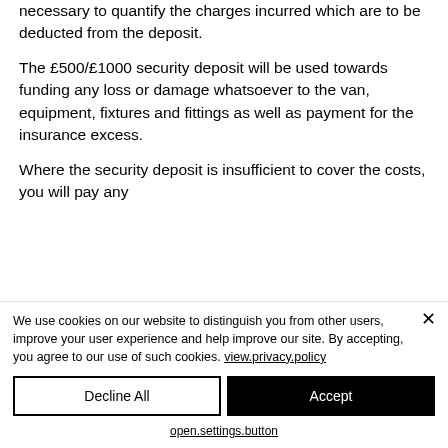necessary to quantify the charges incurred which are to be deducted from the deposit.
The £500/£1000 security deposit will be used towards funding any loss or damage whatsoever to the van, equipment, fixtures and fittings as well as payment for the insurance excess.
Where the security deposit is insufficient to cover the costs, you will pay any
We use cookies on our website to distinguish you from other users, improve your user experience and help improve our site. By accepting, you agree to our use of such cookies. view.privacy.policy
Decline All
Accept
open.settings.button